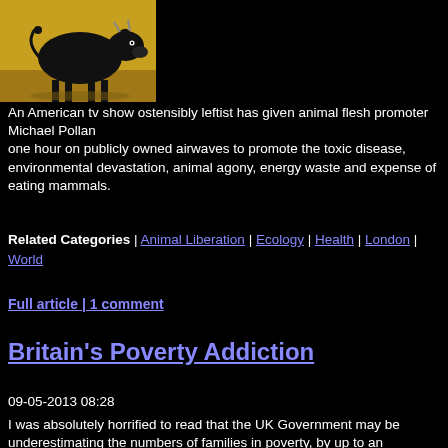[Figure (photo): A black bull/cow standing on a yellow/golden background]
An American tv show ostensibly leftist has given animal flesh promoter Michael Pollan one hour on publicly owned airwaves to promote the toxic disease, environmental devastation, animal agony, energy waste and expense of eating mammals.
Related Categories | Animal Liberation | Ecology | Health | London | World
Full article | 1 comment
Britain's Poverty Addiction
09-05-2013 08:28
I was absolutely horrified to read that the UK Government may be underestimating the numbers of families in poverty, by up to an estimated 40%, according to academics at Edinburgh University.